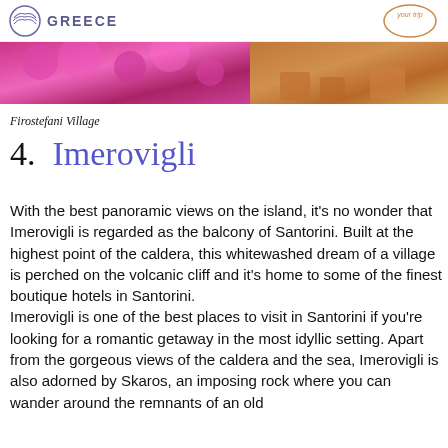GREECE
[Figure (photo): Photo of vibrant pink/magenta flowers (bougainvillea) on the left and terracotta plant pots on the right, typical of a Greek village setting]
Firostefani Village
4.  Imerovigli
With the best panoramic views on the island, it's no wonder that Imerovigli is regarded as the balcony of Santorini. Built at the highest point of the caldera, this whitewashed dream of a village is perched on the volcanic cliff and it's home to some of the finest boutique hotels in Santorini. Imerovigli is one of the best places to visit in Santorini if you're looking for a romantic getaway in the most idyllic setting. Apart from the gorgeous views of the caldera and the sea, Imerovigli is also adorned by Skaros, an imposing rock where you can wander around the remnants of an old